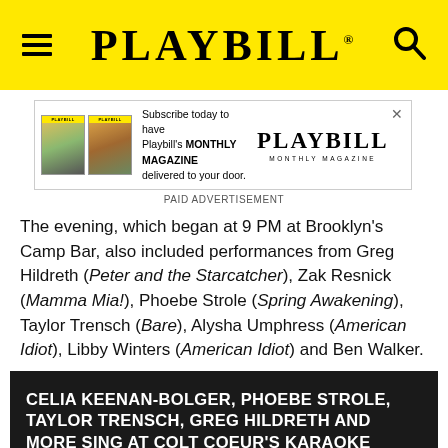PLAYBILL
[Figure (photo): Playbill Monthly Magazine advertisement banner with magazine covers and logo]
PAID ADVERTISEMENT
The evening, which began at 9 PM at Brooklyn's Camp Bar, also included performances from Greg Hildreth (Peter and the Starcatcher), Zak Resnick (Mamma Mia!), Phoebe Strole (Spring Awakening), Taylor Trensch (Bare), Alysha Umphress (American Idiot), Libby Winters (American Idiot) and Ben Walker.
CELIA KEENAN-BOLGER, PHOEBE STROLE, TAYLOR TRENSCH, GREG HILDRETH AND MORE SING AT COLT COEUR'S KARAOKE CLASSIC BENEFIT
[Figure (photo): Partial thumbnail image strip at bottom]